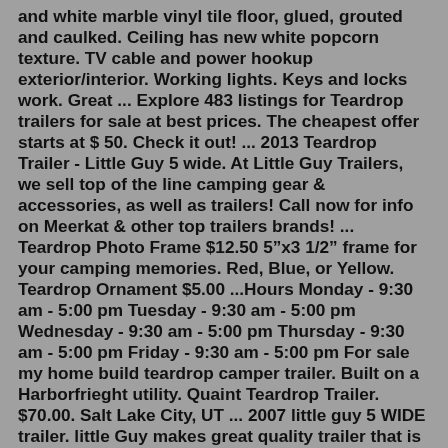and white marble vinyl tile floor, glued, grouted and caulked. Ceiling has new white popcorn texture. TV cable and power hookup exterior/interior. Working lights. Keys and locks work. Great ... Explore 483 listings for Teardrop trailers for sale at best prices. The cheapest offer starts at $ 50. Check it out! ... 2013 Teardrop Trailer - Little Guy 5 wide. At Little Guy Trailers, we sell top of the line camping gear & accessories, as well as trailers! Call now for info on Meerkat & other top trailers brands! ... Teardrop Photo Frame $12.50 5”x3 1/2” frame for your camping memories. Red, Blue, or Yellow. Teardrop Ornament $5.00 ...Hours Monday - 9:30 am - 5:00 pm Tuesday - 9:30 am - 5:00 pm Wednesday - 9:30 am - 5:00 pm Thursday - 9:30 am - 5:00 pm Friday - 9:30 am - 5:00 pm For sale my home build teardrop camper trailer. Built on a Harborfrieght utility. Quaint Teardrop Trailer. $70.00. Salt Lake City, UT ... 2007 little guy 5 WIDE trailer. little Guy makes great quality trailer that is d. 2022 Bushwacker 17BH